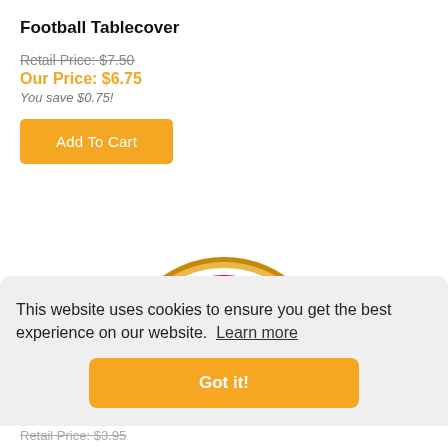Football Tablecover
Retail Price: $7.50
Our Price: $6.75
You save $0.75!
[Figure (illustration): Circular football tablecover product image showing a red and gold design with a football field/goalpost motif, partially visible]
This website uses cookies to ensure you get the best experience on our website. Learn more
Retail Price: $3.95